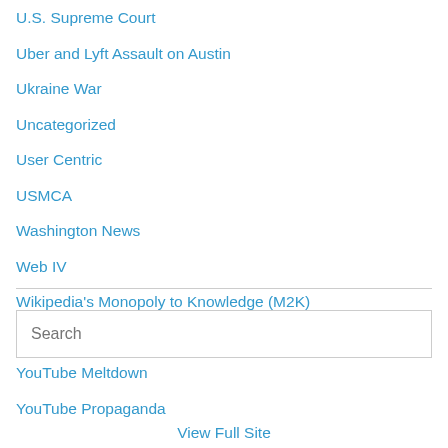U.S. Supreme Court
Uber and Lyft Assault on Austin
Ukraine War
Uncategorized
User Centric
USMCA
Washington News
Web IV
Wikipedia's Monopoly to Knowledge (M2K)
Your Morning Coffee
YouTube Meltdown
YouTube Propaganda
Search
View Full Site